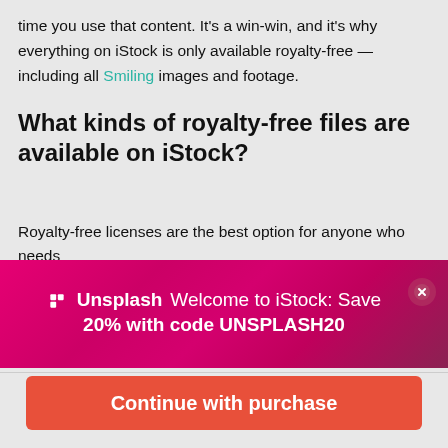time you use that content. It's a win-win, and it's why everything on iStock is only available royalty-free — including all Smiling images and footage.
What kinds of royalty-free files are available on iStock?
Royalty-free licenses are the best option for anyone who needs
[Figure (infographic): Unsplash promotional banner with magenta/pink gradient background. Text reads: Unsplash logo - Welcome to iStock: Save 20% with code UNSPLASH20. Close button (X) in top right corner.]
$33 | 3 credits
Continue with purchase